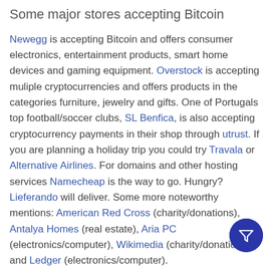Some major stores accepting Bitcoin
Newegg is accepting Bitcoin and offers consumer electronics, entertainment products, smart home devices and gaming equipment. Overstock is accepting muliple cryptocurrencies and offers products in the categories furniture, jewelry and gifts. One of Portugals top football/soccer clubs, SL Benfica, is also accepting cryptocurrency payments in their shop through utrust. If you are planning a holiday trip you could try Travala or Alternative Airlines. For domains and other hosting services Namecheap is the way to go. Hungry? Lieferando will deliver. Some more noteworthy mentions: American Red Cross (charity/donations), Antalya Homes (real estate), Aria PC (electronics/computer), Wikimedia (charity/donations) and Ledger (electronics/computer).
Is your store accepting Bitcoin or any other cryptocurrency?